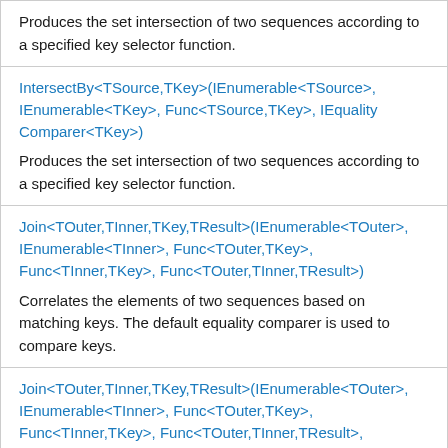Produces the set intersection of two sequences according to a specified key selector function.
IntersectBy<TSource,TKey>(IEnumerable<TSource>, IEnumerable<TKey>, Func<TSource,TKey>, IEqualityComparer<TKey>)
Produces the set intersection of two sequences according to a specified key selector function.
Join<TOuter,TInner,TKey,TResult>(IEnumerable<TOuter>, IEnumerable<TInner>, Func<TOuter,TKey>, Func<TInner,TKey>, Func<TOuter,TInner,TResult>)
Correlates the elements of two sequences based on matching keys. The default equality comparer is used to compare keys.
Join<TOuter,TInner,TKey,TResult>(IEnumerable<TOuter>, IEnumerable<TInner>, Func<TOuter,TKey>, Func<TInner,TKey>, Func<TOuter,TInner,TResult>, IEqualityComparer<TKey>)
Correlates the elements of two sequences based on matching keys. A specified IEqualityComparer<T> is used to compare keys.